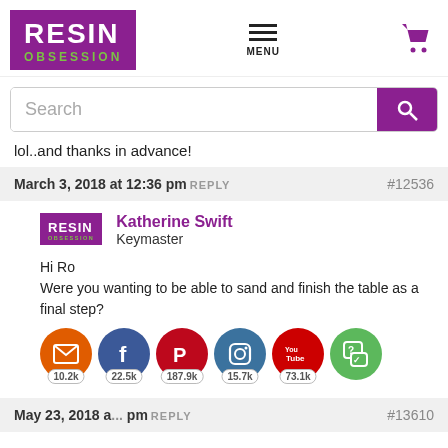[Figure (logo): Resin Obsession logo — purple background with white RESIN text and green OBSESSION text]
[Figure (infographic): Hamburger menu icon and purple shopping cart icon]
[Figure (screenshot): Search bar with purple search button]
lol..and thanks in advance!
March 3, 2018 at 12:36 pmREPLY   #12536
[Figure (logo): Resin Obsession small avatar logo]
Katherine Swift
Keymaster
Hi Ro
Were you wanting to be able to sand and finish the tabl... final step?
[Figure (infographic): Social share icons: email (orange), Facebook (blue), Pinterest (red), Instagram (blue), YouTube (red), and help bubble (green). Share counts: 10.2k, 22.5k, 187.9k, 15.7k, 73.1k]
May 23, 2018 a... pmREPLY   #13610